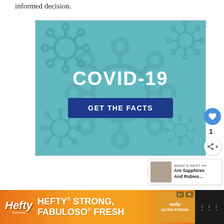informed decision.
[Figure (infographic): COVID-19 GET THE FACTS advertisement banner with teal background showing coronavirus/virus shapes, large white bold COVID-19 text and a dark blue button reading GET THE FACTS]
[Figure (infographic): Hefty STRONG, FABULOSO FRESH advertisement banner at the bottom with orange gradient background]
1
WHAT'S NEXT → Are Sapphires And Rubies...